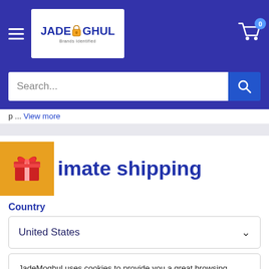[Figure (screenshot): JadeMoghul website header with hamburger menu, logo, and cart icon with badge showing 0]
[Figure (screenshot): Search bar with placeholder text 'Search...' and blue search button]
p ... View more
...imate shipping
Country
United States
JadeMoghul uses cookies to provide you a great browsing experience. Your consent is defined here. Sure!
Zip code